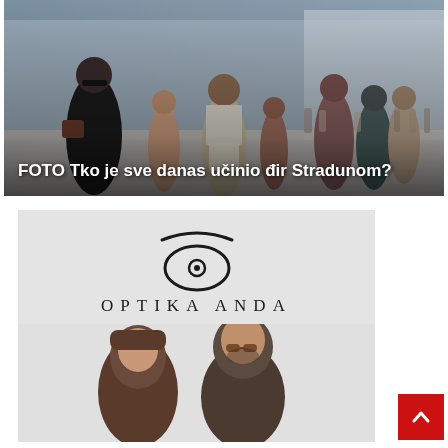[Figure (photo): Photo of a crowded outdoor pedestrian street scene (Stradun, Dubrovnik) with many tourists walking. A woman in a black dress is prominent on the left.]
FOTO Tko je sve danas učinio đir Stradunom?
[Figure (photo): Advertisement for Optika Anda optical store. Features the Optika Anda logo (an eye symbol with a curved line above it) and the brand name in large spaced letters, with a man and woman wearing sunglasses below.]